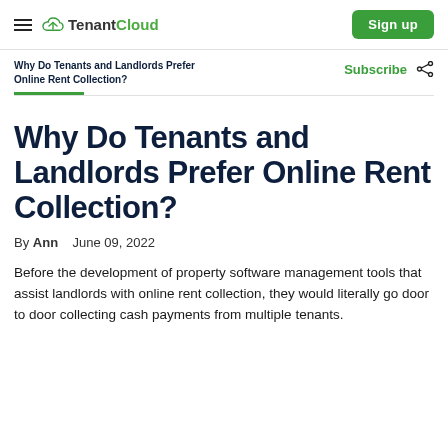TenantCloud — Sign up
Why Do Tenants and Landlords Prefer Online Rent Collection?
Why Do Tenants and Landlords Prefer Online Rent Collection?
By Ann   June 09, 2022
Before the development of property software management tools that assist landlords with online rent collection, they would literally go door to door collecting cash payments from multiple tenants.